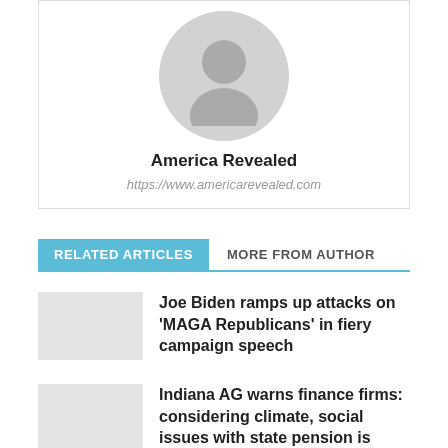[Figure (illustration): Gray circular avatar placeholder with silhouette of a person]
America Revealed
https://www.americarevealed.com
RELATED ARTICLES   MORE FROM AUTHOR
Joe Biden ramps up attacks on ‘MAGA Republicans’ in fiery campaign speech
Indiana AG warns finance firms: considering climate, social issues with state pension is illegal